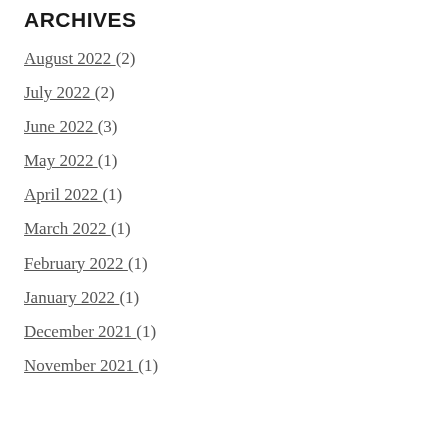ARCHIVES
August 2022 (2)
July 2022 (2)
June 2022 (3)
May 2022 (1)
April 2022 (1)
March 2022 (1)
February 2022 (1)
January 2022 (1)
December 2021 (1)
November 2021 (1)